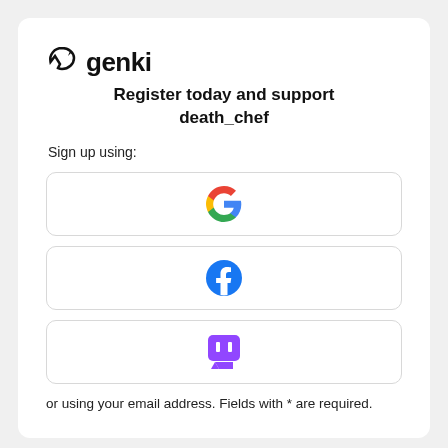[Figure (logo): Genki logo with lightning bolt refresh icon and bold text 'genki']
Register today and support death_chef
Sign up using:
[Figure (logo): Google sign-in button with Google 'G' multicolor logo]
[Figure (logo): Facebook sign-in button with Facebook 'f' logo in blue circle]
[Figure (logo): Twitch sign-in button with Twitch logo in purple]
or using your email address. Fields with * are required.